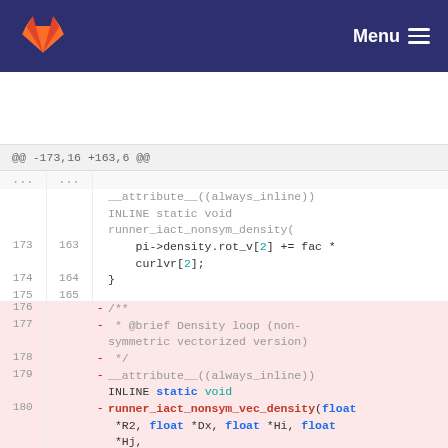[Figure (screenshot): GitLab navigation bar with orange/red fox logo on dark navy background, Menu text and hamburger icon on right]
@@ -173,16 +163,6 @@
__attribute__((always_inline))
INLINE static void
runner_iact_nonsym_density(
    pi->density.rot_v[2] += fac * curlvr[2];
}

- /**
- * @brief Density loop (non-symmetric vectorized version)
- */
- __attribute__((always_inline))
  INLINE static void
- runner_iact_nonsym_vec_density(float *R2, float *Dx, float *Hi, float *Hj,
-
  struct part **pi, struct part **pj)
  {